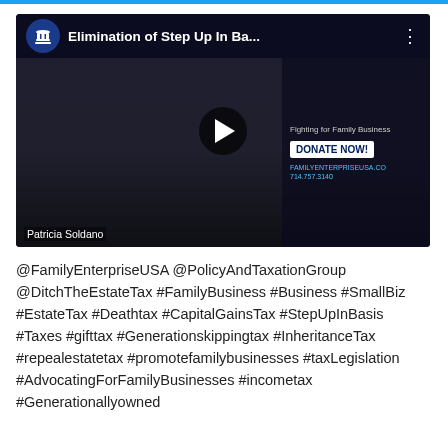[Figure (screenshot): YouTube video thumbnail showing a woman with glasses (Patricia Soldano) with title 'Elimination of Step Up In Ba...' and a play button in the center. Right side shows 'Fighting for Family Business', 'DONATE NOW!', 'FAMILYENTERPRISEUSA.CO', '714.757.3140'. Channel logo is a blue circle with a building/columns icon.]
@FamilyEnterpriseUSA @PolicyAndTaxationGroup @DitchTheEstateTax #FamilyBusiness #Business #SmallBiz #EstateTax #Deathtax #CapitalGainsTax #StepUpInBasis #Taxes #gifttax #Generationskippingtax #InheritanceTax #repealestatetax #promotefamilybusinesses #taxLegislation #AdvocatingForFamilyBusinesses #incometax #Generationallyowned